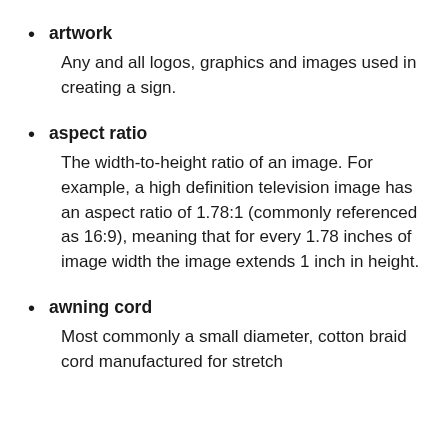artwork
Any and all logos, graphics and images used in creating a sign.
aspect ratio
The width-to-height ratio of an image. For example, a high definition television image has an aspect ratio of 1.78:1 (commonly referenced as 16:9), meaning that for every 1.78 inches of image width the image extends 1 inch in height.
awning cord
Most commonly a small diameter, cotton braid cord manufactured for stretch